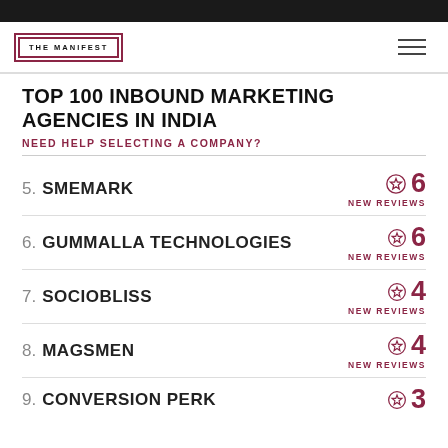[Figure (logo): The Manifest logo — a double-bordered box with THE MANIFEST text]
TOP 100 INBOUND MARKETING AGENCIES IN INDIA
NEED HELP SELECTING A COMPANY?
5. SMEMARK — 6 NEW REVIEWS
6. GUMMALLA TECHNOLOGIES — 6 NEW REVIEWS
7. SOCIOBLISS — 4 NEW REVIEWS
8. MAGSMEN — 4 NEW REVIEWS
9. CONVERSION PERK — 3 NEW REVIEWS